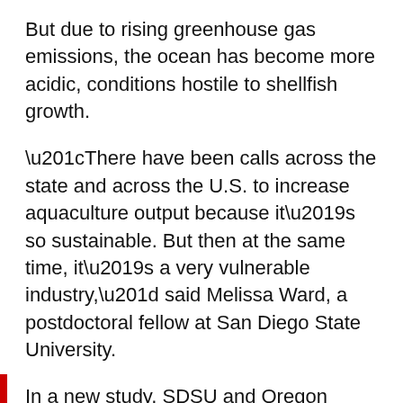But due to rising greenhouse gas emissions, the ocean has become more acidic, conditions hostile to shellfish growth.
“There have been calls across the state and across the U.S. to increase aquaculture output because it’s so sustainable. But then at the same time, it’s a very vulnerable industry,” said Melissa Ward, a postdoctoral fellow at San Diego State University.
In a new study, SDSU and Oregon State University researchers interviewed California shellfish growers to find out how they perceive ocean acidification, and to learn what strategies they think will help their operations adapt to changing environmental conditions.
“This study is fairly unique in that we’re getting information directly from the people who are being